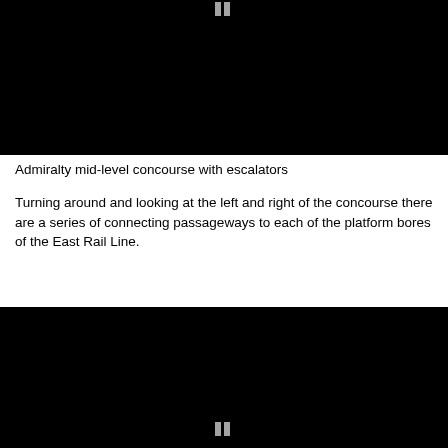[Figure (photo): Dark/black photograph of Admiralty mid-level concourse with escalators, with a small pause icon visible at the top center]
Admiralty mid-level concourse with escalators
Turning around and looking at the left and right of the concourse there are a series of connecting passageways to each of the platform bores of the East Rail Line.
[Figure (photo): Dark/black photograph of platform bores or connecting passageways, with a small pause icon visible at the bottom center]